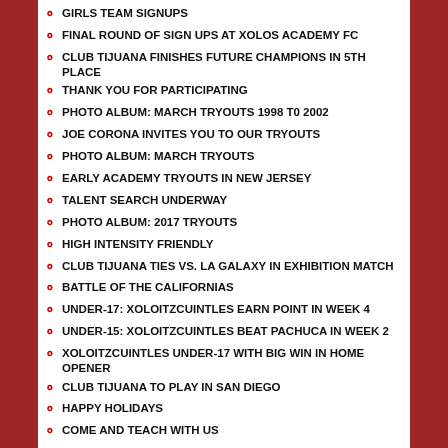GIRLS TEAM SIGNUPS
FINAL ROUND OF SIGN UPS AT XOLOS ACADEMY FC
CLUB TIJUANA FINISHES FUTURE CHAMPIONS IN 5TH PLACE
THANK YOU FOR PARTICIPATING
PHOTO ALBUM: MARCH TRYOUTS 1998 T0 2002
JOE CORONA INVITES YOU TO OUR TRYOUTS
PHOTO ALBUM: MARCH TRYOUTS
EARLY ACADEMY TRYOUTS IN NEW JERSEY
TALENT SEARCH UNDERWAY
PHOTO ALBUM: 2017 TRYOUTS
HIGH INTENSITY FRIENDLY
CLUB TIJUANA TIES VS. LA GALAXY IN EXHIBITION MATCH
BATTLE OF THE CALIFORNIAS
UNDER-17: XOLOITZCUINTLES EARN POINT IN WEEK 4
UNDER-15: XOLOITZCUINTLES BEAT PACHUCA IN WEEK 2
XOLOITZCUINTLES UNDER-17 WITH BIG WIN IN HOME OPENER
CLUB TIJUANA TO PLAY IN SAN DIEGO
HAPPY HOLIDAYS
COME AND TEACH WITH US
XOLOS ACADEMY FC TEAMS LOOKING TO FINISH ON TOP AS END OF SEASON NEARS